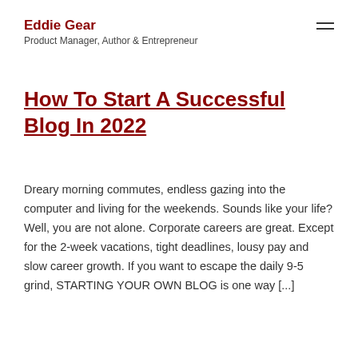Eddie Gear
Product Manager, Author & Entrepreneur
How To Start A Successful Blog In 2022
Dreary morning commutes, endless gazing into the computer and living for the weekends. Sounds like your life? Well, you are not alone. Corporate careers are great. Except for the 2-week vacations, tight deadlines, lousy pay and slow career growth. If you want to escape the daily 9-5 grind, STARTING YOUR OWN BLOG is one way [...]